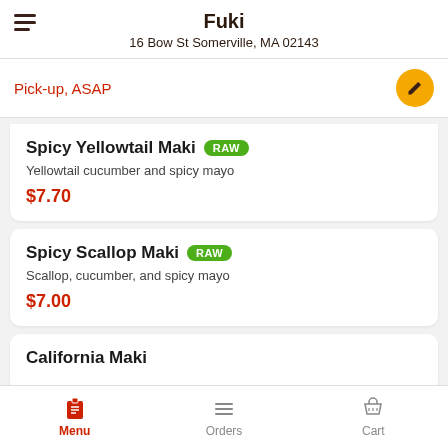Fuki
16 Bow St Somerville, MA 02143
Pick-up, ASAP
Spicy Yellowtail Maki [RAW]
Yellowtail cucumber and spicy mayo
$7.70
Spicy Scallop Maki [RAW]
Scallop, cucumber, and spicy mayo
$7.00
California Maki
Menu  Orders  Cart